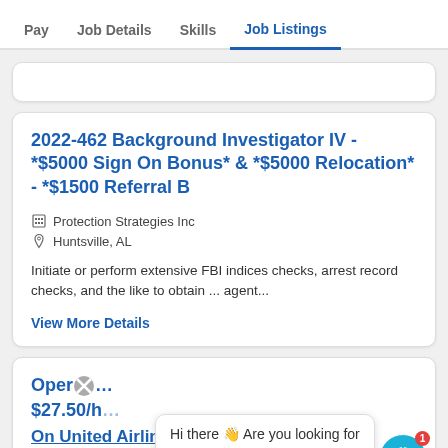Pay | Job Details | Skills | Job Listings
2022-462 Background Investigator IV - *$5000 Sign On Bonus* & *$5000 Relocation* - *$1500 Referral B
Protection Strategies Inc
Huntsville, AL
Initiate or perform extensive FBI indices checks, arrest record checks, and the like to obtain ... agent...
View More Details
Oper… $27.50/… On United Airlines!
Hi there 👋 Are you looking for salary data?